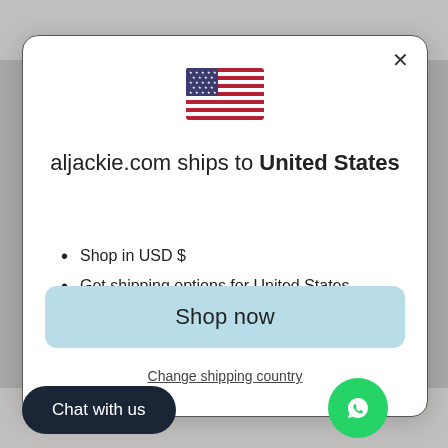[Figure (screenshot): A modal dialog on aljackie.com website showing a shipping country selector with US flag, listing USD currency and US shipping options, with a Shop now button and Change shipping country link. Overlapping UI elements include a Chat with us button and WhatsApp icon.]
aljackie.com ships to United States
Shop in USD $
Get shipping options for United States
Shop now
Change shipping country
Chat with us